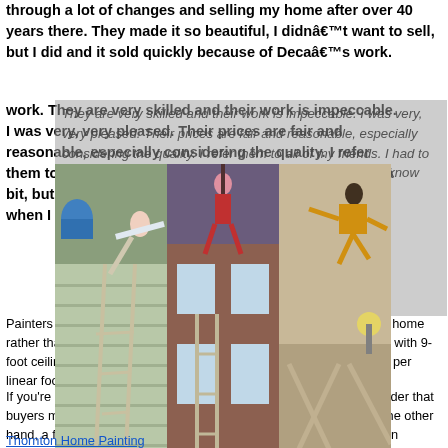through a lot of changes and selling my home after over 40 years there. They made it so beautiful, I didnât want to sell, but I did and it sold quickly because of Decaâs work. They are very skilled and their work is impeccable. I was very, very pleased. Their prices are fair and reasonable, especially considering the quality. I refer them to all of my friends. I had to move from Dallas for a bit, but am returning. I am glad I know who I can call when I have my new place.
Painters may provide you with savings if you opt to paint your entire home rather than just a few rooms at a time. For example, in a large home with 9-foot ceilings, painting ceilings could cost extra. Painters may charge per linear foot for Thornton Home Painting
[Figure (photo): Three side-by-side photos of people doing acrobatic/parkour moves on ladders near houses]
If you're planning to sell your home and want to repaint it, also consider that buyers may want to repaint your home too, in their own colors. On the other hand, a fresh coat of paint can help you sell and paint the home upon moving in. So if you have a limited budget, your money (and time) might be better invested in other types of home projects, such as remodeling your bathroom or kitchen, installing new floors or fixing broken appliances.
Thornton Home Painting